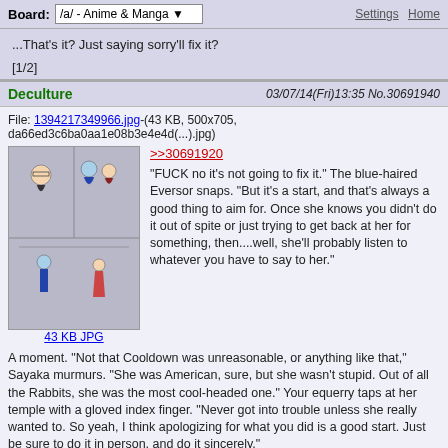Board: /a/ - Anime & Manga | Settings Home
...That's it? Just saying sorry'll fix it?
[1/2]
Deculture   03/07/14(Fri)13:35 No.30691940
File: 1394217349966.jpg-(43 KB, 500x705, da66ed3c6ba0aa1e08b3e4e4d(...).jpg)
[Figure (illustration): Manga-style illustration with anime characters]
>>30691920
"FUCK no it's not going to fix it." The blue-haired Eversor snaps. "But it's a start, and that's always a good thing to aim for. Once she knows you didn't do it out of spite or just trying to get back at her for something, then....well, she'll probably listen to whatever you have to say to her."
A moment. "Not that Cooldown was unreasonable, or anything like that," Sayaka murmurs. "She was American, sure, but she wasn't stupid. Out of all the Rabbits, she was the most cool-headed one." Your equerry taps at her temple with a gloved index finger. "Never got into trouble unless she really wanted to. So yeah, I think apologizing for what you did is a good start. Just be sure to do it in person, and do it sincerely."
That sounds easy enough. You're all about doing stuff up close and personal. And sincerely.